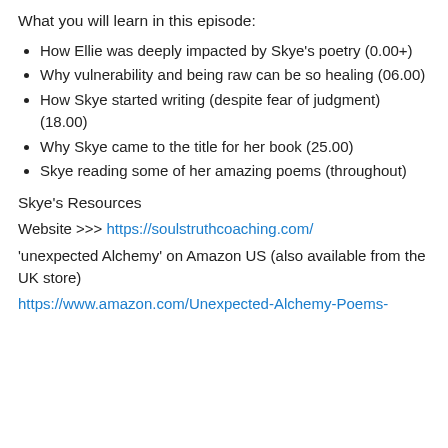What you will learn in this episode:
How Ellie was deeply impacted by Skye's poetry (0.00+)
Why vulnerability and being raw can be so healing (06.00)
How Skye started writing (despite fear of judgment) (18.00)
Why Skye came to the title for her book (25.00)
Skye reading some of her amazing poems (throughout)
Skye's Resources
Website >>> https://soulstruthcoaching.com/
'unexpected Alchemy' on Amazon US (also available from the UK store)
https://www.amazon.com/Unexpected-Alchemy-Poems-